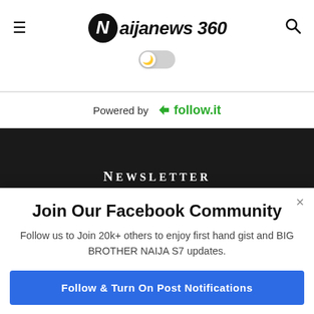≡  Naijanews 360  🔍
Powered by follow.it
NEWSLETTER
THE MOST IMPORTANT LOCAL NEWS
Join Our Facebook Community
Follow us to Join 20k+ others to enjoy first hand gist and BIG BROTHER NAIJA S7 updates.
Follow & Turn On Post Notifications